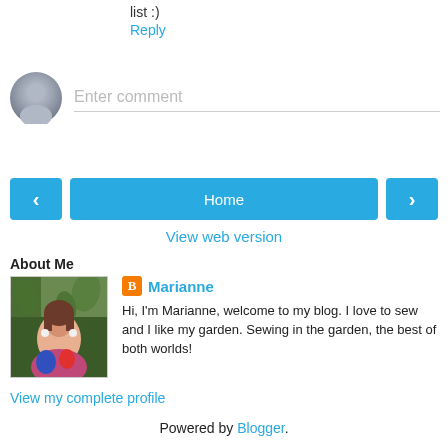list :)
Reply
Enter comment
Home
View web version
About Me
[Figure (photo): Profile photo of Marianne, a woman with brown hair outdoors among greenery]
Marianne
Hi, I'm Marianne, welcome to my blog. I love to sew and I like my garden. Sewing in the garden, the best of both worlds!
View my complete profile
Powered by Blogger.